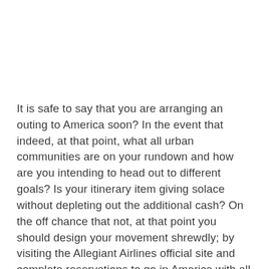It is safe to say that you are arranging an outing to America soon? In the event that indeed, at that point, what all urban communities are on your rundown and how are you intending to head out to different goals? Is your itinerary item giving solace without depleting out the additional cash? On the off chance that not, at that point you should design your movement shrewdly; by visiting the Allegiant Airlines official site and complete reservations to go in America with all the previously mentioned highlights. Allegiant airlines reservations can be produced using their official site on the off chance that you need to profit more limits and make your movement progressively